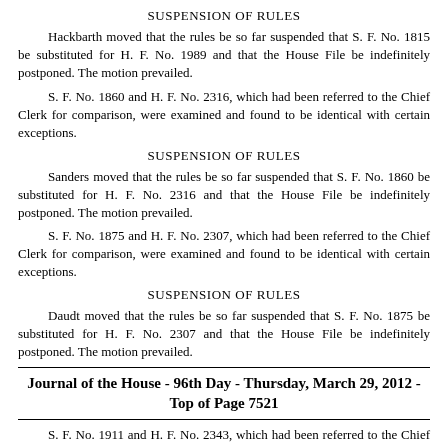SUSPENSION OF RULES
Hackbarth moved that the rules be so far suspended that S. F. No. 1815 be substituted for H. F. No. 1989 and that the House File be indefinitely postponed. The motion prevailed.
S. F. No. 1860 and H. F. No. 2316, which had been referred to the Chief Clerk for comparison, were examined and found to be identical with certain exceptions.
SUSPENSION OF RULES
Sanders moved that the rules be so far suspended that S. F. No. 1860 be substituted for H. F. No. 2316 and that the House File be indefinitely postponed. The motion prevailed.
S. F. No. 1875 and H. F. No. 2307, which had been referred to the Chief Clerk for comparison, were examined and found to be identical with certain exceptions.
SUSPENSION OF RULES
Daudt moved that the rules be so far suspended that S. F. No. 1875 be substituted for H. F. No. 2307 and that the House File be indefinitely postponed. The motion prevailed.
Journal of the House - 96th Day - Thursday, March 29, 2012 - Top of Page 7521
S. F. No. 1911 and H. F. No. 2343, which had been referred to the Chief Clerk for comparison, were examined and found to be identical with certain